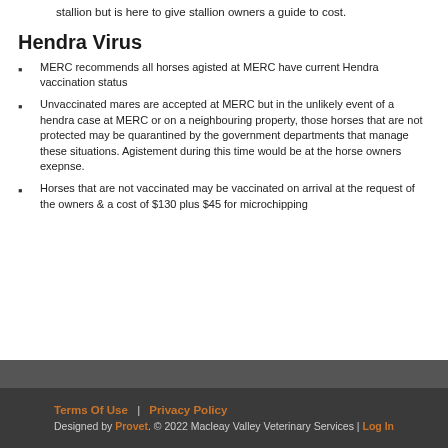stallion but is here to give stallion owners a guide to cost.
Hendra Virus
MERC recommends all horses agisted at MERC have current Hendra vaccination status
Unvaccinated mares are accepted at MERC but in the unlikely event of a hendra case at MERC or on a neighbouring property, those horses that are not protected may be quarantined by the government departments that manage these situations. Agistement during this time would be at the horse owners exepnse.
Horses that are not vaccinated may be vaccinated on arrival at the request of the owners & a cost of $130 plus $45 for microchipping
Terms Of Use | Privacy Policy   Designed by Provet. © 2022 Macleay Valley Veterinary Services | Log In